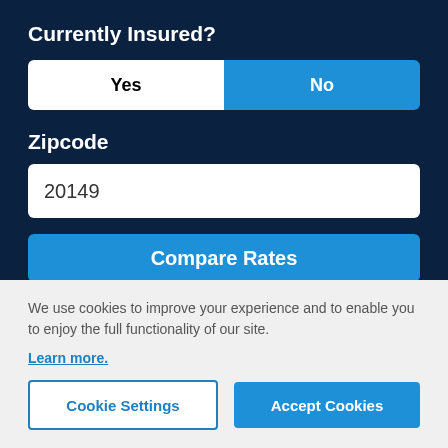Currently Insured?
[Figure (other): Toggle button with Yes (unselected, white) and No (selected, blue) options]
Zipcode
20149
Compare Rates
We use cookies to improve your experience and to enable you to enjoy the full functionality of our site.
Learn more.
Cookie Settings
Accept Cookies